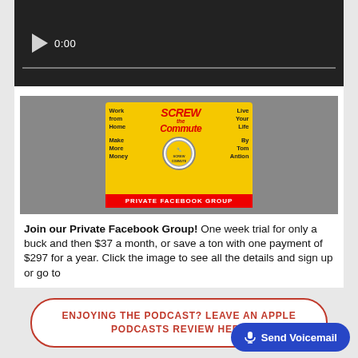[Figure (screenshot): Video player showing 0:00 timestamp with dark background and progress bar]
[Figure (photo): Screw the Commute Private Facebook Group promotional banner with yellow center card on grey traffic background]
Join our Private Facebook Group! One week trial for only a buck and then $37 a month, or save a ton with one payment of $297 for a year. Click the image to see all the details and sign up or go to
ENJOYING THE PODCAST? LEAVE AN APPLE PODCASTS REVIEW HERE
[Figure (screenshot): Send Voicemail button in blue with microphone icon]